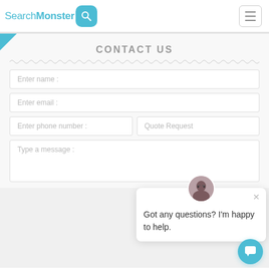[Figure (screenshot): SearchMonster logo with teal search icon box and hamburger menu button]
CONTACT US
Enter name :
Enter email :
Enter phone number :
Quote Request
Type a message :
Got any questions? I'm happy to help.